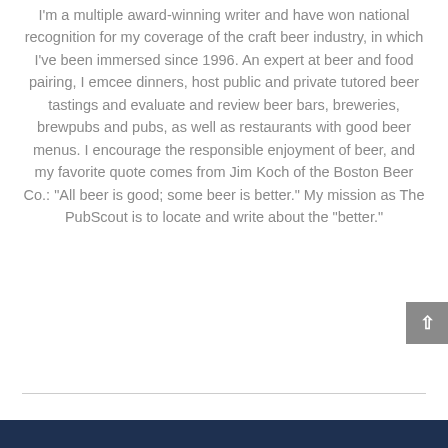I'm a multiple award-winning writer and have won national recognition for my coverage of the craft beer industry, in which I've been immersed since 1996. An expert at beer and food pairing, I emcee dinners, host public and private tutored beer tastings and evaluate and review beer bars, breweries, brewpubs and pubs, as well as restaurants with good beer menus. I encourage the responsible enjoyment of beer, and my favorite quote comes from Jim Koch of the Boston Beer Co.: "All beer is good; some beer is better." My mission as The PubScout is to locate and write about the "better."